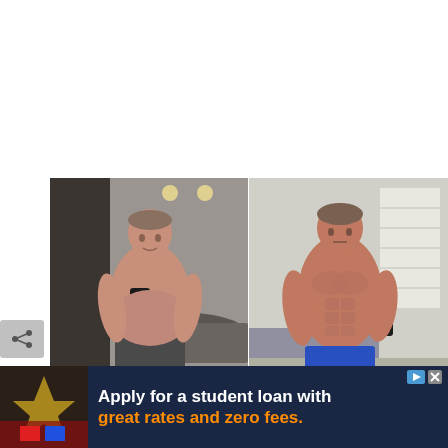[Figure (photo): Before and after fitness comparison photos side by side. Left photo: a man with slightly more body fat taking a shirtless mirror selfie in a gym/garage setting, wearing dark grey shorts. Right photo: the same man with more muscle definition taking a shirtless mirror selfie in a bedroom/apartment setting, wearing blue shorts.]
[Figure (photo): Advertisement banner with dark navy background. Left side shows a small image thumbnail. Text reads: 'Apply for a student loan with great rates and zero fees.' with 'great rates and zero fees.' in orange text.]